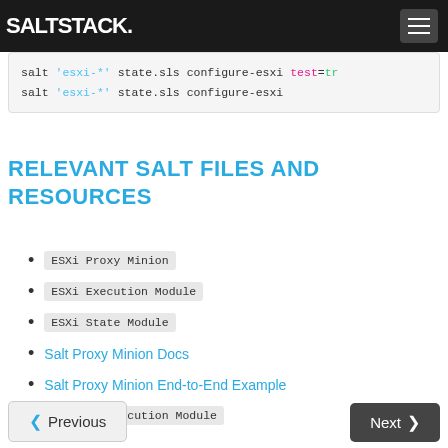SALTSTACK
salt 'esxi-*' state.sls configure-esxi test=tr
salt 'esxi-*' state.sls configure-esxi
RELEVANT SALT FILES AND RESOURCES
ESXi Proxy Minion
ESXi Execution Module
ESXi State Module
Salt Proxy Minion Docs
Salt Proxy Minion End-to-End Example
vSphere Execution Module